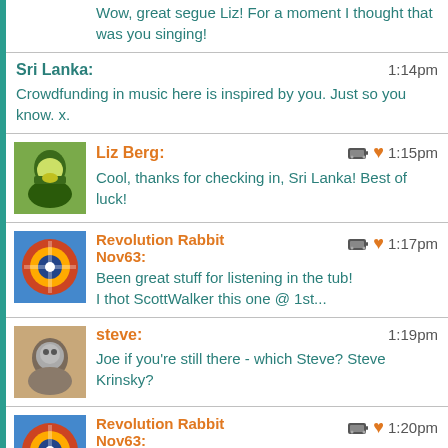Wow, great segue Liz! For a moment I thought that was you singing!
Sri Lanka: 1:14pm
Crowdfunding in music here is inspired by you. Just so you know. x.
Liz Berg: 1:15pm
Cool, thanks for checking in, Sri Lanka! Best of luck!
Revolution Rabbit Nov63: 1:17pm
Been great stuff for listening in the tub!
I thot ScottWalker this one @ 1st...
steve: 1:19pm
Joe if you're still there - which Steve? Steve Krinsky?
Revolution Rabbit Nov63: 1:20pm
@KenfHP: Back of truck very N'Orleans, no?
Polyus: 1:21pm
Another vote for Rob's brass band comp here.
ZenGreenway: 1:22pm